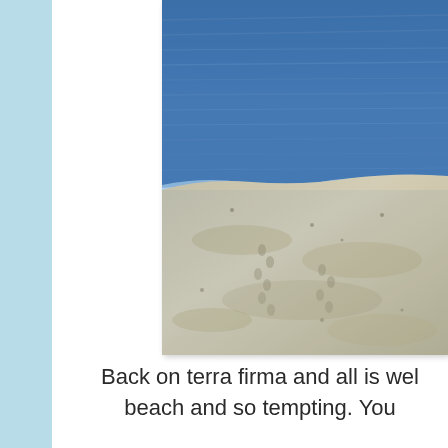[Figure (photo): Photograph of a beach scene showing blue ocean water with gentle waves meeting a sandy shore with footprints in the sand, taken at dusk or dawn with blue tones.]
Back on terra firma and all is wel... beach and so tempting. You...